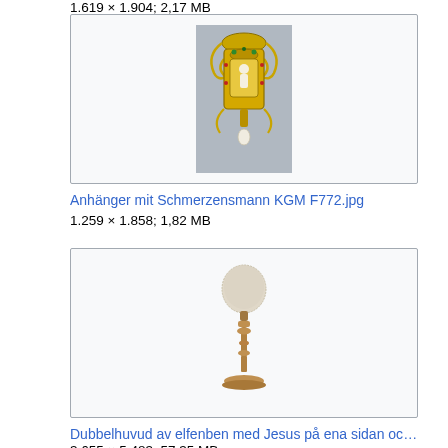1.619 × 1.904; 2,17 MB
[Figure (photo): Gold ornate pendant with gemstones and a pearl drop, displayed against a grey background. The pendant has an elaborate baroque design with scrollwork and a central figure.]
Anhänger mit Schmerzensmann KGM F772.jpg
1.259 × 1.858; 1,82 MB
[Figure (photo): A double-headed ivory object on a turned wooden stand, displayed against a white background. The top portion is rounded and textured.]
Dubbelhuvud av elfenben med Jesus på ena sidan och d...
3.655 × 5.483; 57,35 MB